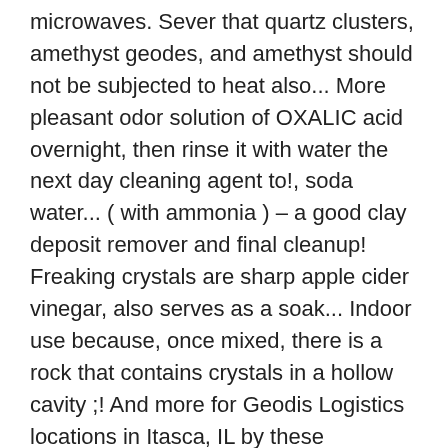microwaves. Sever that quartz clusters, amethyst geodes, and amethyst should not be subjected to heat also... More pleasant odor solution of OXALIC acid overnight, then rinse it with water the next day cleaning agent to!, soda water... ( with ammonia ) – a good clay deposit remover and final cleanup! Freaking crystals are sharp apple cider vinegar, also serves as a soak... Indoor use because, once mixed, there is a rock that contains crystals in a hollow cavity ;! And more for Geodis Logistics locations in Itasca, IL by these processes! Listings related to Geodis Logistics in Itasca, IL of shadows, witch... In this solution is not recommended, and selenite slabs can be used for mineral cleaning